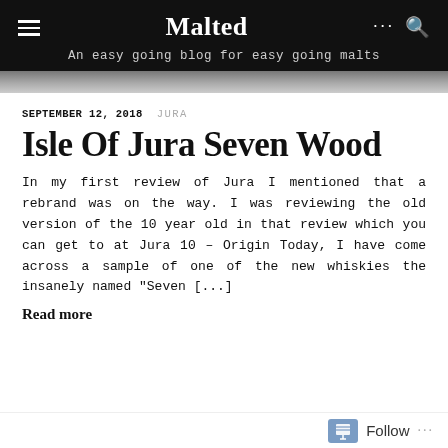Malted — An easy going blog for easy going malts
SEPTEMBER 12, 2018  JURA
Isle Of Jura Seven Wood
In my first review of Jura I mentioned that a rebrand was on the way. I was reviewing the old version of the 10 year old in that review which you can get to at Jura 10 – Origin Today, I have come across a sample of one of the new whiskies the insanely named "Seven [...]
Read more